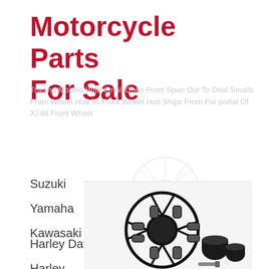Motorcycle Parts For Sale
Trading Models With Small Ones Front Spun Out To Deal Smalls From Wheel Hub To Front Wheel Hub Ships From For portal Of X248 Front Wheel
Suzuki
Yamaha
Kawasaki
Harley Davidson
Harley
Vintage
[Figure (photo): Motorcycle wheel rim with two cylindrical spacer/hub parts and a small bolt or pin, shown against a white background]